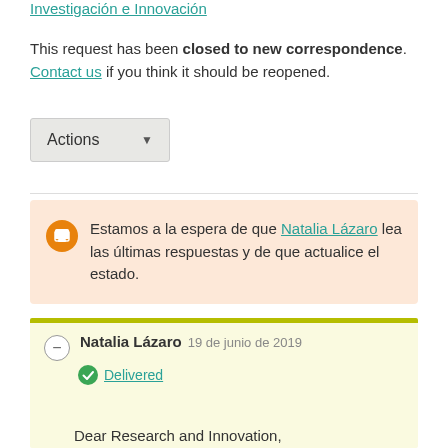Investigación e Innovación
This request has been closed to new correspondence. Contact us if you think it should be reopened.
Actions
Estamos a la espera de que Natalia Lázaro lea las últimas respuestas y de que actualice el estado.
Natalia Lázaro 19 de junio de 2019
Delivered
Dear Research and Innovation,